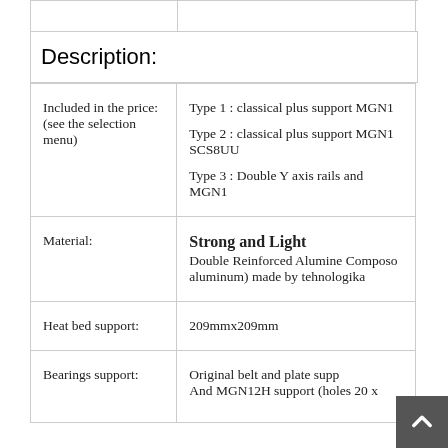|  |  |  |
Description:
| Included in the price:
(see the selection menu) | Type 1 : classical plus support MGN1
Type 2 : classical plus support MGN1 SCS8UU
Type 3 : Double Y axis rails and MGN1 |
| Material: | Strong and Light
Double Reinforced Alumine Compos... aluminum) made by tehnologika |
| Heat bed support: | 209mmx209mm |
| Bearings support: | Original belt and plate supp...
And MGN12H support (holes 20 x... |